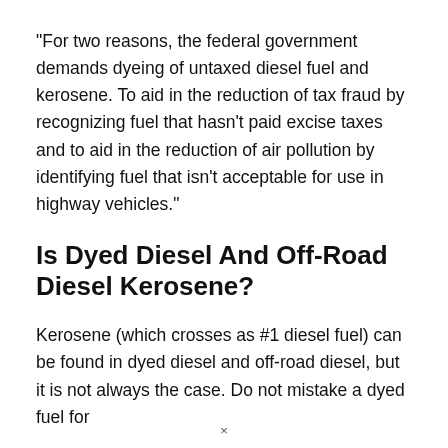“For two reasons, the federal government demands dyeing of untaxed diesel fuel and kerosene. To aid in the reduction of tax fraud by recognizing fuel that hasn’t paid excise taxes and to aid in the reduction of air pollution by identifying fuel that isn’t acceptable for use in highway vehicles.”
Is Dyed Diesel And Off-Road Diesel Kerosene?
Kerosene (which crosses as #1 diesel fuel) can be found in dyed diesel and off-road diesel, but it is not always the case. Do not mistake a dyed fuel for
×